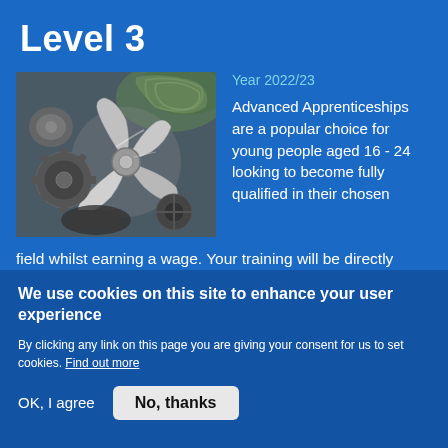Level 3
[Figure (photo): Close-up photo of various metallic mechanical components including gears, a propeller, and other engineering parts, with green rope in the background.]
Year 2022/23
Advanced Apprenticeships are a popular choice for young people aged 16 - 24 looking to become fully qualified in their chosen field whilst earning a wage. Your training will be directly linked to the career you have chosen, gaining practical
We use cookies on this site to enhance your user experience
By clicking any link on this page you are giving your consent for us to set cookies. Find out more
OK, I agree   No, thanks